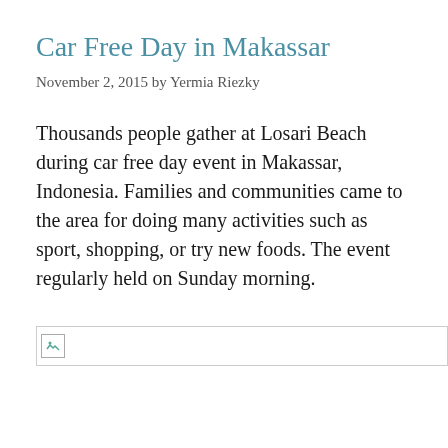Car Free Day in Makassar
November 2, 2015 by Yermia Riezky
Thousands people gather at Losari Beach during car free day event in Makassar, Indonesia. Families and communities came to the area for doing many activities such as sport, shopping, or try new foods. The event regularly held on Sunday morning.
[Figure (photo): Broken/missing image placeholder at bottom of page]